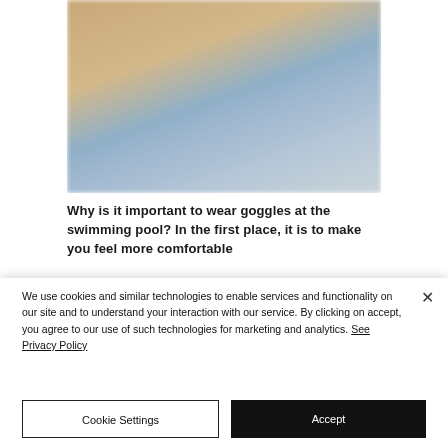[Figure (photo): Blurred photo of a child wearing blue swimming goggles, with a warm sandy/pool background]
Why is it important to wear goggles at the swimming pool? In the first place, it is to make you feel more comfortable
We use cookies and similar technologies to enable services and functionality on our site and to understand your interaction with our service. By clicking on accept, you agree to our use of such technologies for marketing and analytics. See Privacy Policy
Cookie Settings
Accept